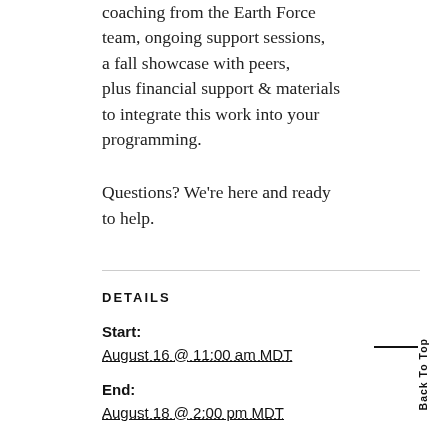coaching from the Earth Force team, ongoing support sessions, a fall showcase with peers, plus financial support & materials to integrate this work into your programming.
Questions? We're here and ready to help.
DETAILS
Start:
August 16 @ 11:00 am MDT
End:
August 18 @ 2:00 pm MDT